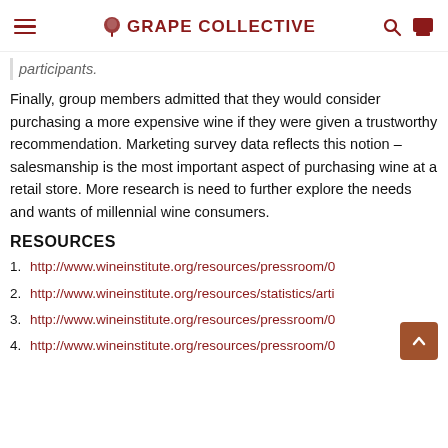GRAPE COLLECTIVE
participants.
Finally, group members admitted that they would consider purchasing a more expensive wine if they were given a trustworthy recommendation. Marketing survey data reflects this notion – salesmanship is the most important aspect of purchasing wine at a retail store. More research is need to further explore the needs and wants of millennial wine consumers.
RESOURCES
1. http://www.wineinstitute.org/resources/pressroom/0
2. http://www.wineinstitute.org/resources/statistics/arti
3. http://www.wineinstitute.org/resources/pressroom/0
4. http://www.wineinstitute.org/resources/pressroom/0